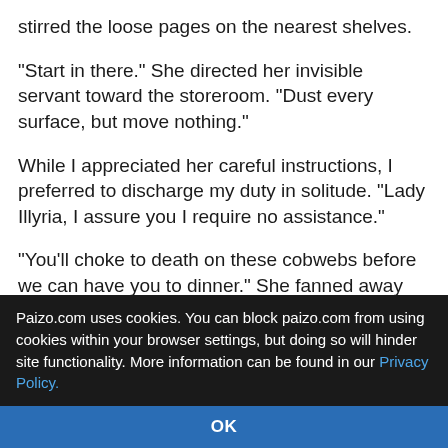stirred the loose pages on the nearest shelves.
"Start in there." She directed her invisible servant toward the storeroom. "Dust every surface, but move nothing."
While I appreciated her careful instructions, I preferred to discharge my duty in solitude. "Lady Illyria, I assure you I require no assistance."
"You'll choke to death on these cobwebs before we can have you to dinner." She fanned away the cloud already emerging from the storeroom. "There must be a window in one of these rooms."
She cast a light on the palm of her hand and entered the storeroom.
Paizo.com uses cookies. You can block paizo.com from using cookies within your browser settings, but doing so will hinder site functionality. More information can be found in our Privacy Policy.
OK